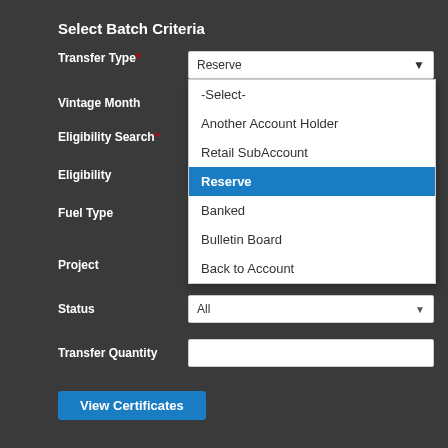Select Batch Criteria
Transfer Type (required)
Vintage Month
Eligibility Search (required)
Eligibility
Fuel Type
Project
Status
Transfer Quantity
[Figure (screenshot): Dropdown menu for Transfer Type field showing options: -Select-, Another Account Holder, Retail SubAccount, Reserve (highlighted in blue/selected), Banked, Bulletin Board, Back to Account. The Fuel Type field below shows 'All' selected.]
View Certificates